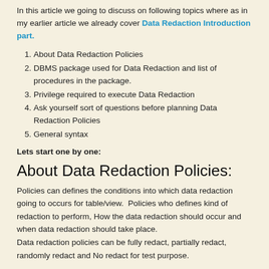In this article we going to discuss on following topics where as in my earlier article we already cover Data Redaction Introduction part.
1. About Data Redaction Policies
2. DBMS package used for Data Redaction and list of procedures in the package.
3. Privilege required to execute Data Redaction
4. Ask yourself sort of questions before planning Data Redaction Policies
5. General syntax
Lets start one by one:
About Data Redaction Policies:
Policies can defines the conditions into which data redaction going to occurs for table/view.  Policies who defines kind of redaction to perform, How the data redaction should occur and when data redaction should take place.
Data redaction policies can be fully redact, partially redact, randomly redact and No redact for test purpose.